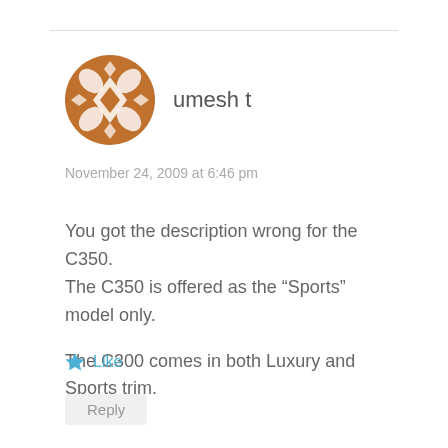[Figure (illustration): Circular avatar icon with brown/orange geometric quilt pattern for user 'umesh t']
umesh t
November 24, 2009 at 6:46 pm
You got the description wrong for the C350. The C350 is offered as the “Sports” model only.

The C300 comes in both Luxury and Sports trim.
Like
Reply